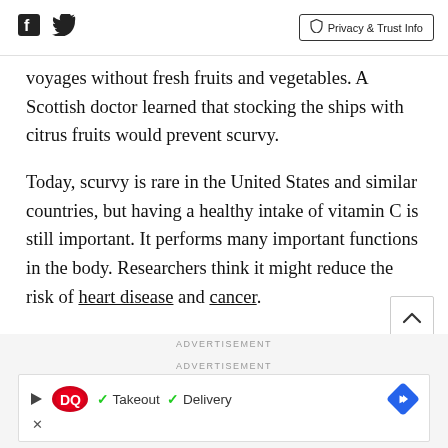Facebook Twitter | Privacy & Trust Info
voyages without fresh fruits and vegetables. A Scottish doctor learned that stocking the ships with citrus fruits would prevent scurvy.
Today, scurvy is rare in the United States and similar countries, but having a healthy intake of vitamin C is still important. It performs many important functions in the body. Researchers think it might reduce the risk of heart disease and cancer.
ADVERTISEMENT
ADVERTISEMENT
[Figure (other): Dairy Queen advertisement banner with play button, DQ logo, checkmark Takeout, checkmark Delivery text, and blue diamond arrow button, with close X below]